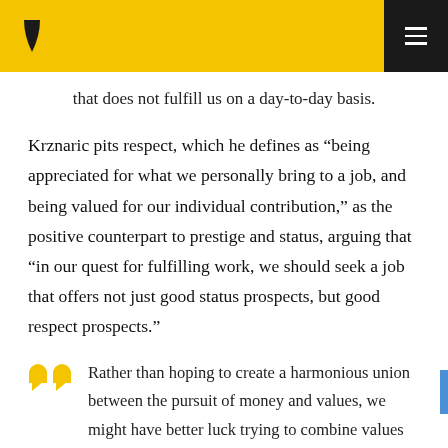Navigation bar with logo and menu
that does not fulfill us on a day-to-day basis.
Krznaric pits respect, which he defines as “being appreciated for what we personally bring to a job, and being valued for our individual contribution,” as the positive counterpart to prestige and status, arguing that “in our quest for fulfilling work, we should seek a job that offers not just good status prospects, but good respect prospects.”
Rather than hoping to create a harmonious union between the pursuit of money and values, we might have better luck trying to combine values with talents. This idea comes courtesy of Aristotle, who is attributed with saying, ‘Where the needs of...